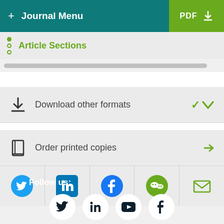+ Journal Menu | PDF
Article Sections
Download other formats
Order printed copies
[Figure (infographic): Social sharing icons: Twitter (blue), LinkedIn (blue), Facebook (blue), WeChat (green), Email (green)]
Follow us:
[Figure (infographic): Footer social icons: Twitter, LinkedIn, YouTube, Facebook - all white on dark background circles]